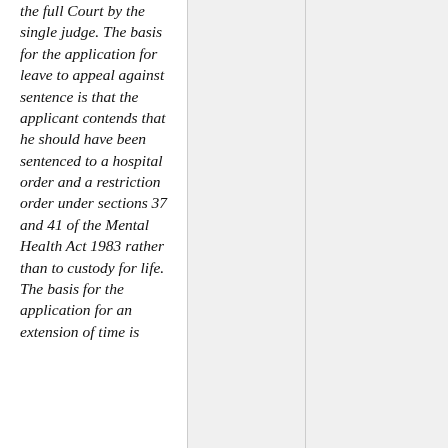the full Court by the single judge. The basis for the application for leave to appeal against sentence is that the applicant contends that he should have been sentenced to a hospital order and a restriction order under sections 37 and 41 of the Mental Health Act 1983 rather than to custody for life. The basis for the application for an extension of time is